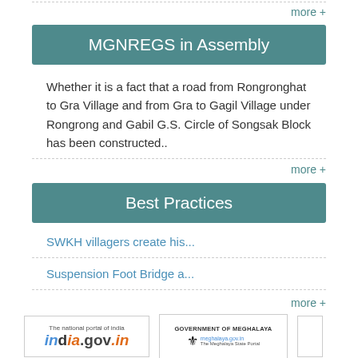more +
MGNREGS in Assembly
Whether it is a fact that a road from Rongronghat to Gra Village and from Gra to Gagil Village under Rongrong and Gabil G.S. Circle of Songsak Block has been constructed..
more +
Best Practices
SWKH villagers create his...
Suspension Foot Bridge a...
more +
[Figure (logo): India.gov.in - The national portal of India logo]
[Figure (logo): Government of Meghalaya - meghalaya.gov.in - The Meghalaya State Portal logo]